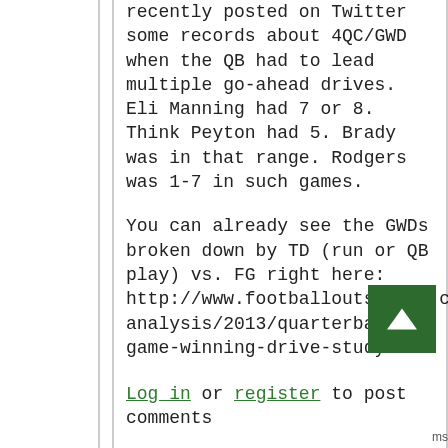recently posted on Twitter some records about 4QC/GWD when the QB had to lead multiple go-ahead drives. Eli Manning had 7 or 8. Think Peyton had 5. Brady was in that range. Rodgers was 1-7 in such games.

You can already see the GWDs broken down by TD (run or QB play) vs. FG right here: http://www.footballoutsiders.com/stat-analysis/2013/quarterbacks-game-winning-drive-study
Log in or register to post comments